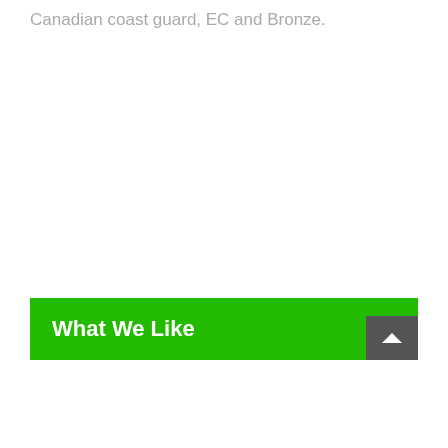Canadian coast guard, EC and Bronze.
What We Like